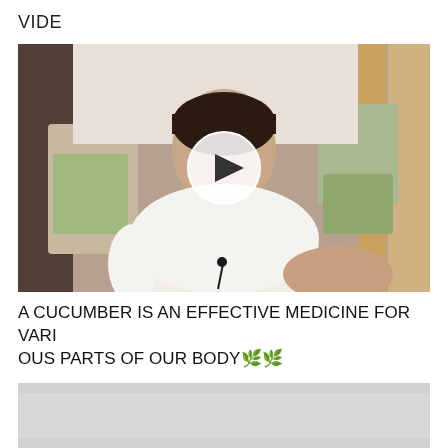VIDE
[Figure (screenshot): Video thumbnail showing a woman in a white shirt with a lapel microphone, sitting in a room with shelves and bags. A play button overlay (white circle with triangle) is centered on the image.]
A CUCUMBER IS AN EFFECTIVE MEDICINE FOR VARIOUS PARTS OF OUR BODY🌿🌿
[Figure (screenshot): Partially visible second video thumbnail, appearing as a light gray rectangle at the bottom of the page.]